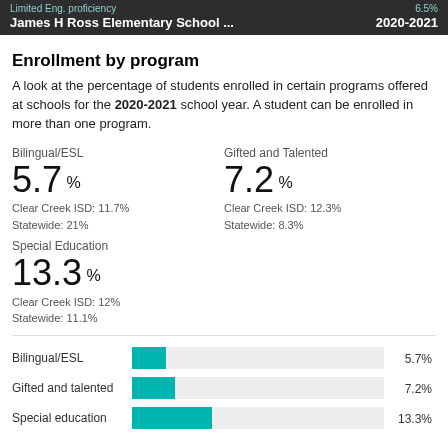Limited Eng. proficiency ... 6.5%
James H Ross Elementary School ... 2020-2021
Enrollment by program
A look at the percentage of students enrolled in certain programs offered at schools for the 2020-2021 school year. A student can be enrolled in more than one program.
Bilingual/ESL
5.7 %
Clear Creek ISD: 11.7%
Stayewide: 21%
Gifted and Talented
7.2 %
Clear Creek ISD: 12.3%
Stayewide: 8.3%
Special Education
13.3 %
Clear Creek ISD: 12%
Stayewide: 11.1%
[Figure (bar-chart): Enrollment by program]